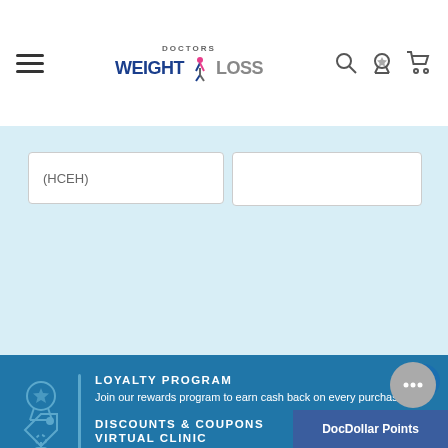Doctors Weight Loss
(HCEH)
LOYALTY PROGRAM
Join our rewards program to earn cash back on every purchase!
VIRTUAL CLINIC
Our medical team is here to help you every step of the way!
DISCOUNTS & COUPONS
DocDollar Points